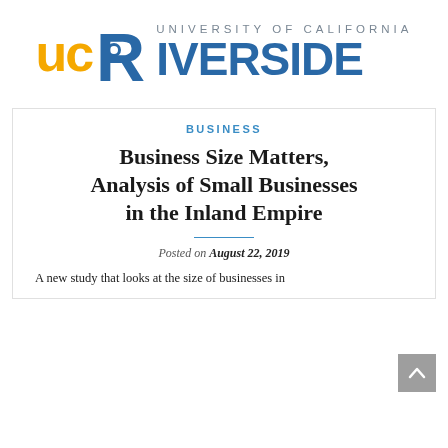[Figure (logo): UC Riverside logo with golden 'UC' text, blue starburst 'R', and blue 'RIVERSIDE' text with gray 'UNIVERSITY OF CALIFORNIA' above]
BUSINESS
Business Size Matters, Analysis of Small Businesses in the Inland Empire
Posted on August 22, 2019
A new study that looks at the size of businesses in